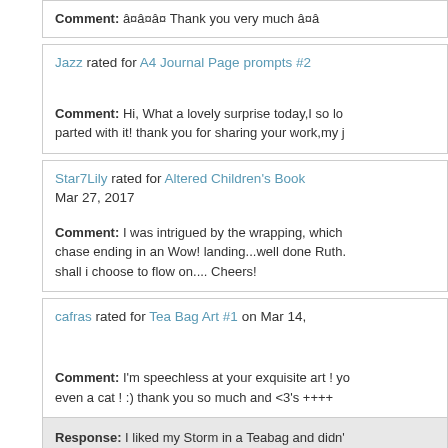Comment: â¤â¤â¤ Thank you very much â¤â
Jazz rated for A4 Journal Page prompts #2
Comment: Hi, What a lovely surprise today,I so love parted with it! thank you for sharing your work,my j
Star7Lily rated for Altered Children's Book Mar 27, 2017
Comment: I was intrigued by the wrapping, which chase ending in an Wow! landing...well done Ruth. shall i choose to flow on.... Cheers!
cafras rated for Tea Bag Art #1 on Mar 14,
Comment: I'm speechless at your exquisite art ! yo even a cat ! :) thank you so much and <3's ++++
Response: I liked my Storm in a Teabag and didn' too.